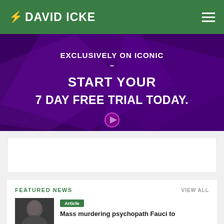DAVID ICKE
[Figure (screenshot): Purple promotional banner with text: EXCLUSIVELY ON ICONIC - START YOUR 7 DAY FREE TRIAL TODAY. with a play button.]
[Figure (other): White advertisement box placeholder]
FEATURED NEWS
VIEW ALL
[Figure (photo): Thumbnail photo of Fauci]
Article
Mass murdering psychopath Fauci to